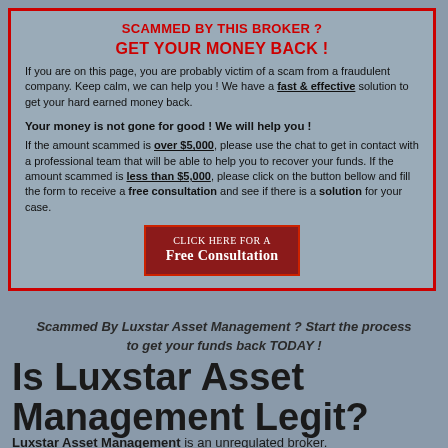SCAMMED BY THIS BROKER ?
GET YOUR MONEY BACK !
If you are on this page, you are probably victim of a scam from a fraudulent company. Keep calm, we can help you ! We have a fast & effective solution to get your hard earned money back.
Your money is not gone for good ! We will help you !
If the amount scammed is over $5,000, please use the chat to get in contact with a professional team that will be able to help you to recover your funds. If the amount scammed is less than $5,000, please click on the button bellow and fill the form to receive a free consultation and see if there is a solution for your case.
[Figure (other): Button: CLICK HERE FOR A FREE CONSULTATION]
Scammed By Luxstar Asset Management ? Start the process to get your funds back TODAY !
Is Luxstar Asset Management Legit?
Luxstar Asset Management is an unregulated broker.